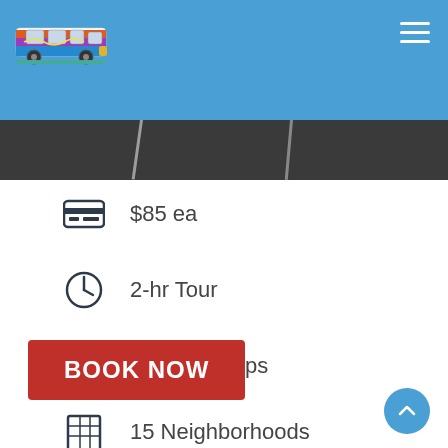[Figure (screenshot): Website header with blue background, colorful psychedelic van logo on left, hamburger menu icon on right, hero image of dark parking lot/road below]
$85 ea
2-hr Tour
2 Photo Stops
& Skyline
15 Neighborhoods
BOOK NOW